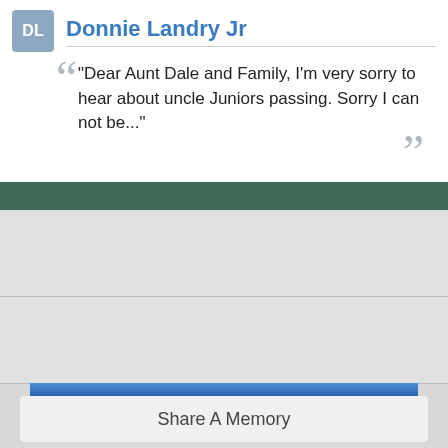Donnie Landry Jr
"Dear Aunt Dale and Family, I'm very sorry to hear about uncle Juniors passing. Sorry I can not be..."
[Figure (photo): Partial photo of a building with blue sky background visible at bottom of page]
Share A Memory